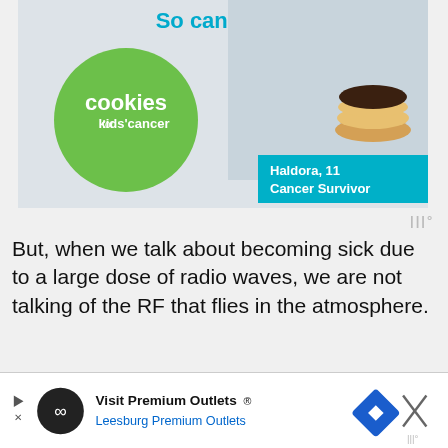[Figure (illustration): Advertisement banner for 'Cookies for Kids' Cancer' featuring a green circle with text 'cookies for kids cancer', teal banner with 'Haldora, 11 Cancer Survivor', text 'So can you!' at top, and a girl holding cookies on the right side.]
But, when we talk about becoming sick due to a large dose of radio waves, we are not talking of the RF that flies in the atmosphere.
You have to be deliberate about this by being exposed to some device, like in the hospital...
[Figure (illustration): Bottom advertisement banner: 'Visit Premium Outlets® Leesburg Premium Outlets' with a black circle infinity logo, blue diamond arrow logo, and close X button with Moat logo.]